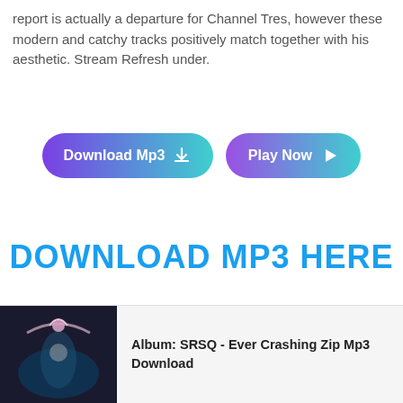report is actually a departure for Channel Tres, however these modern and catchy tracks positively match together with his aesthetic. Stream Refresh under.
[Figure (other): Two pill-shaped gradient buttons: 'Download Mp3' with download icon, and 'Play Now' with play triangle icon. Both have purple-to-cyan gradients.]
DOWNLOAD MP3 HERE
[Figure (photo): Album artwork thumbnail showing a figure in a dark scenic setting with a gift bow overlay]
Album: SRSQ - Ever Crashing Zip Mp3 Download